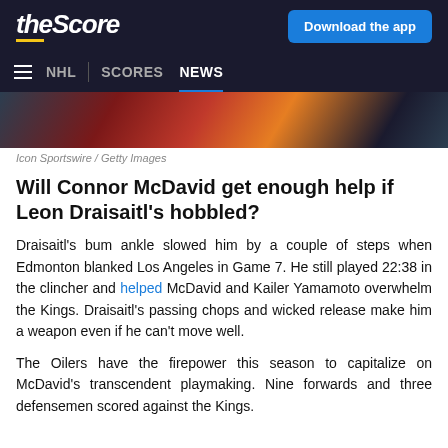theScore | Download the app
NHL | SCORES NEWS
[Figure (photo): Sports action photo showing hockey players in dark uniforms with orange accents]
Icon Sportswire / Getty Images
Will Connor McDavid get enough help if Leon Draisaitl's hobbled?
Draisaitl's bum ankle slowed him by a couple of steps when Edmonton blanked Los Angeles in Game 7. He still played 22:38 in the clincher and helped McDavid and Kailer Yamamoto overwhelm the Kings. Draisaitl's passing chops and wicked release make him a weapon even if he can't move well.
The Oilers have the firepower this season to capitalize on McDavid's transcendent playmaking. Nine forwards and three defensemen scored against the Kings.